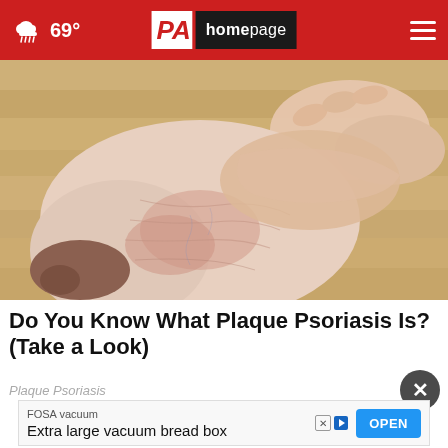69° PA homepage
[Figure (photo): Close-up photograph of a person's foot and ankle being held, showing dry, flaky, reddened skin indicative of plaque psoriasis, resting on a wooden floor.]
Do You Know What Plaque Psoriasis Is? (Take a Look)
Plaque Psoriasis
FOSA vacuum
Extra large vacuum bread box
OPEN